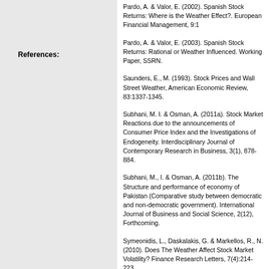References:
Pardo, A. & Valor, E. (2002). Spanish Stock Returns: Where is the Weather Effect?. European Financial Management, 9:1
Pardo, A. & Valor, E. (2003). Spanish Stock Returns: Rational or Weather Influenced. Working Paper, SSRN.
Saunders, E., M. (1993). Stock Prices and Wall Street Weather, American Economic Review, 83:1337-1345.
Subhani, M. I. & Osman, A. (2011a). Stock Market Reactions due to the announcements of Consumer Price Index and the Investigations of Endogeneity. Interdisciplinary Journal of Contemporary Research in Business, 3(1), 878-884.
Subhani, M., I. & Osman, A. (2011b). The Structure and performance of economy of Pakistan (Comparative study between democratic and non-democratic government). International Journal of Business and Social Science, 2(12), Forthcoming.
Symeonidis, L., Daskalakis, G. & Markellos, R., N. (2010). Does The Weather Affect Stock Market Volatility? Finance Research Letters, 7(4):214-223.
Tufan, E. & Hamarat, B. (2004). Do Cloudy Days Affect Stock Exchange Returns: Evidence From Istanbul Stock Exchange,